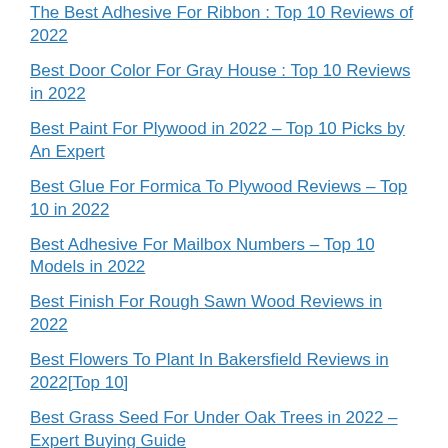The Best Adhesive For Ribbon : Top 10 Reviews of 2022
Best Door Color For Gray House : Top 10 Reviews in 2022
Best Paint For Plywood in 2022 – Top 10 Picks by An Expert
Best Glue For Formica To Plywood Reviews – Top 10 in 2022
Best Adhesive For Mailbox Numbers – Top 10 Models in 2022
Best Finish For Rough Sawn Wood Reviews in 2022
Best Flowers To Plant In Bakersfield Reviews in 2022[Top 10]
Best Grass Seed For Under Oak Trees in 2022 – Expert Buying Guide